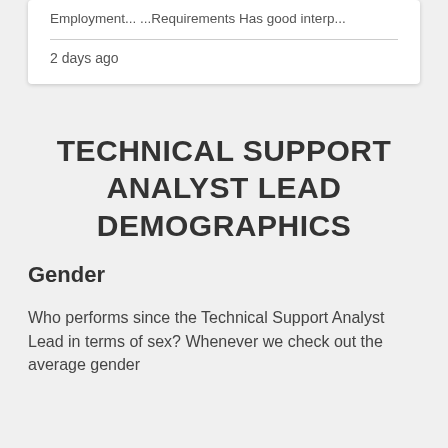Employment... ...Requirements Has good interp...
2 days ago
TECHNICAL SUPPORT ANALYST LEAD DEMOGRAPHICS
Gender
Who performs since the Technical Support Analyst Lead in terms of sex? Whenever we check out the average gender